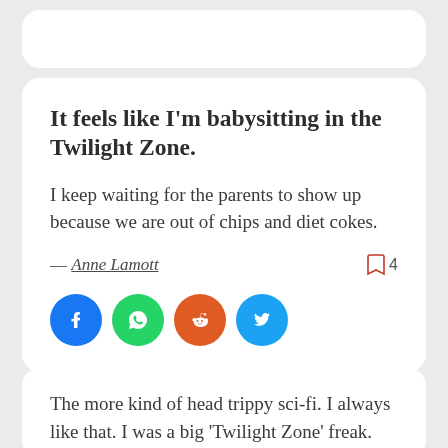It feels like I'm babysitting in the Twilight Zone.
I keep waiting for the parents to show up because we are out of chips and diet cokes.
— Anne Lamott
[Figure (infographic): Social share buttons: Facebook (blue circle), WhatsApp (green circle), Reddit (orange circle), Twitter (blue circle). Bookmark icon with count 4.]
The more kind of head trippy sci-fi. I always like that. I was a big 'Twilight Zone' freak.